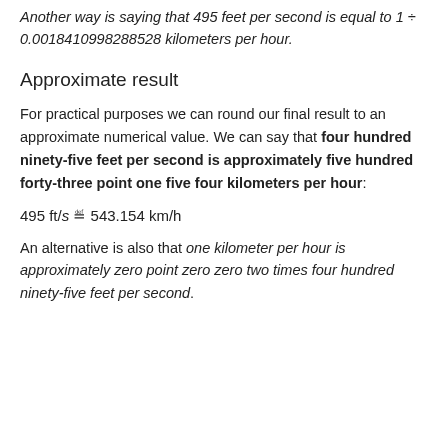Another way is saying that 495 feet per second is equal to 1 ÷ 0.0018410998288528 kilometers per hour.
Approximate result
For practical purposes we can round our final result to an approximate numerical value. We can say that four hundred ninety-five feet per second is approximately five hundred forty-three point one five four kilometers per hour:
An alternative is also that one kilometer per hour is approximately zero point zero zero two times four hundred ninety-five feet per second.